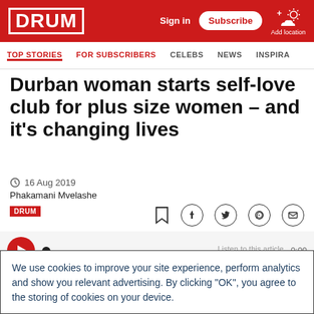DRUM | Sign in | Subscribe | Add location
TOP STORIES | FOR SUBSCRIBERS | CELEBS | NEWS | INSPIRA
Durban woman starts self-love club for plus size women – and it's changing lives
16 Aug 2019
Phakamani Mvelashe
DRUM
Listen to this article 0:00
We use cookies to improve your site experience, perform analytics and show you relevant advertising. By clicking "OK", you agree to the storing of cookies on your device.